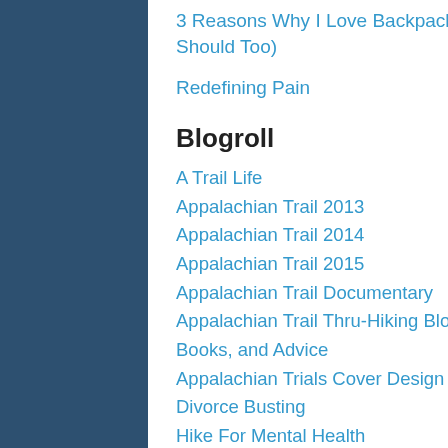3 Reasons Why I Love Backpacking (And You Should Too)
Redefining Pain
Blogroll
A Trail Life
Appalachian Trail 2013
Appalachian Trail 2014
Appalachian Trail 2015
Appalachian Trail Documentary
Appalachian Trail Thru-Hiking Blogs, Resources, Books, and Advice
Appalachian Trials Cover Design !
Divorce Busting
Hike For Mental Health
Interesting Psychology Facts
Livin La Vida Larson
Music 4 Water
Smile Big and Pretty
Talk Nerdy to Me Lover
Tech Cocktail